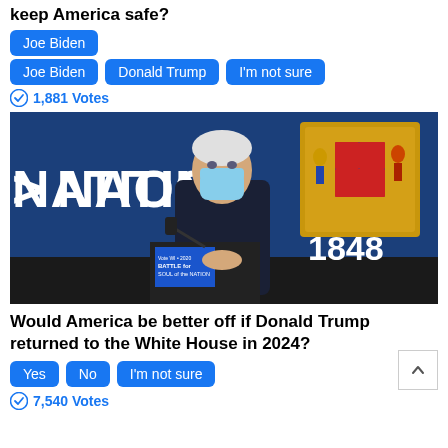keep America safe?
Joe Biden
Donald Trump
I'm not sure
1,881 Votes
[Figure (photo): Joe Biden wearing a mask standing at a podium with a Wisconsin state flag and '1848' visible in the background, and a sign reading 'Battle for the Soul of the Nation']
Would America be better off if Donald Trump returned to the White House in 2024?
Yes
No
I'm not sure
7,540 Votes